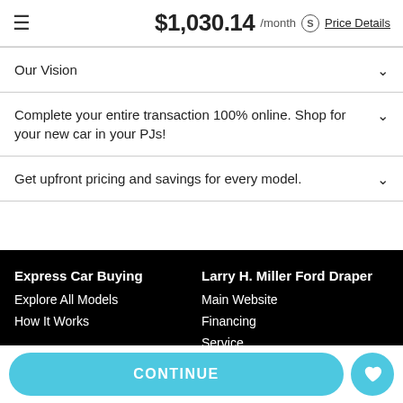$1,030.14 /month Price Details
Our Vision
Complete your entire transaction 100% online. Shop for your new car in your PJs!
Get upfront pricing and savings for every model.
Express Car Buying
Explore All Models
How It Works
Larry H. Miller Ford Draper
Main Website
Financing
Service
CONTINUE